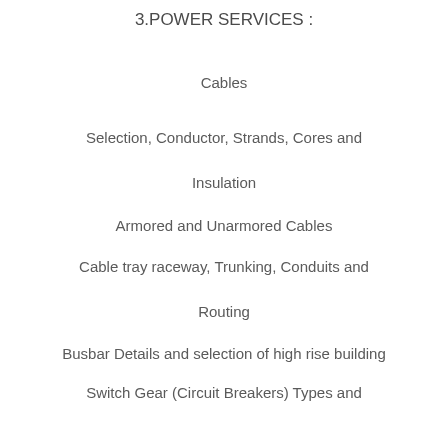3.POWER SERVICES :
Cables
Selection, Conductor, Strands, Cores and Insulation
Armored and Unarmored Cables
Cable tray raceway, Trunking, Conduits and Routing
Busbar Details and selection of high rise building
Switch Gear (Circuit Breakers) Types and...